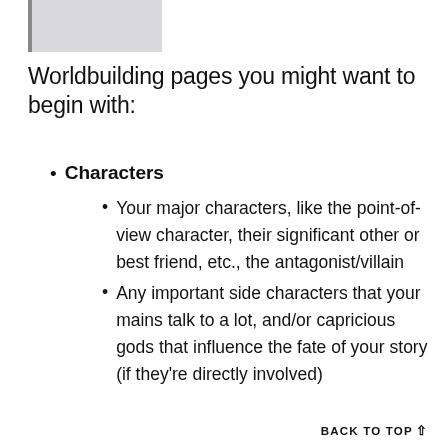[Figure (other): Partial image placeholder at top left, gray rectangle]
Worldbuilding pages you might want to begin with:
Characters
Your major characters, like the point-of-view character, their significant other or best friend, etc., the antagonist/villain
Any important side characters that your mains talk to a lot, and/or capricious gods that influence the fate of your story (if they're directly involved)
BACK TO TOP ▲